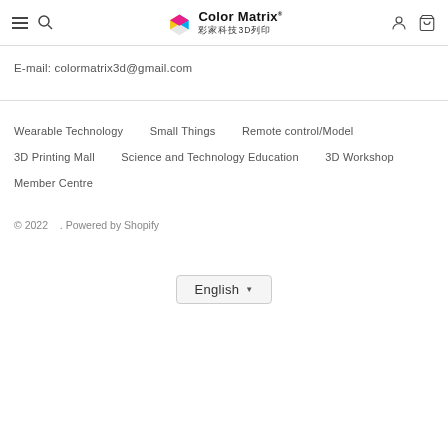Color Matrix® 彩家科技3D列印 — navigation header with menu, search, account, cart icons
E-mail: colormatrix3d@gmail.com
Wearable Technology
Small Things
Remote control/Model
3D Printing Mall
Science and Technology Education
3D Workshop
Member Centre
© 2022 . Powered by Shopify
English ▼